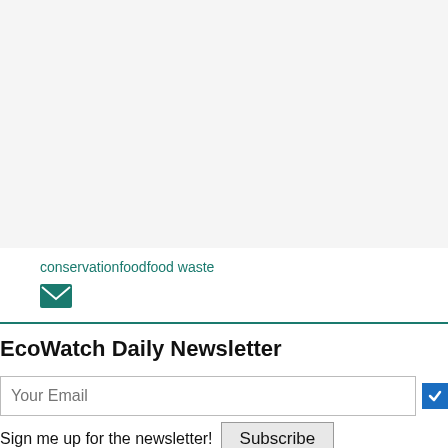[Figure (other): Gray placeholder image area at the top of the page]
conservationfoodfood waste
[Figure (other): Green envelope/email icon]
EcoWatch Daily Newsletter
Your Email
Sign me up for the newsletter!
Subscribe